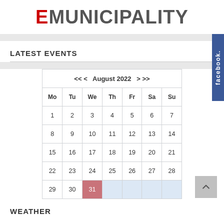eMUNICIPALITY
LATEST EVENTS
| Mo | Tu | We | Th | Fr | Sa | Su |
| --- | --- | --- | --- | --- | --- | --- |
| 1 | 2 | 3 | 4 | 5 | 6 | 7 |
| 8 | 9 | 10 | 11 | 12 | 13 | 14 |
| 15 | 16 | 17 | 18 | 19 | 20 | 21 |
| 22 | 23 | 24 | 25 | 26 | 27 | 28 |
| 29 | 30 | 31 |  |  |  |  |
WEATHER